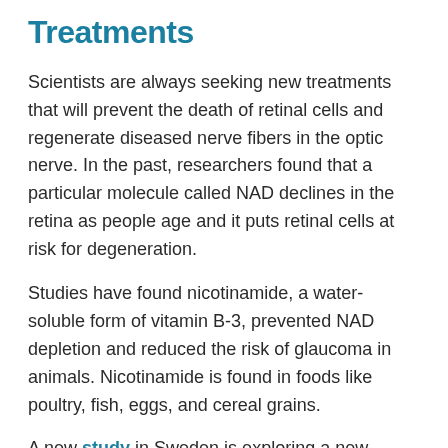Treatments
Scientists are always seeking new treatments that will prevent the death of retinal cells and regenerate diseased nerve fibers in the optic nerve. In the past, researchers found that a particular molecule called NAD declines in the retina as people age and it puts retinal cells at risk for degeneration.
Studies have found nicotinamide, a water-soluble form of vitamin B-3, prevented NAD depletion and reduced the risk of glaucoma in animals. Nicotinamide is found in foods like poultry, fish, eggs, and cereal grains.
A new study in Sweden is exploring a new potential neuroprotective therapy for glaucoma. Researchers and clinicians at